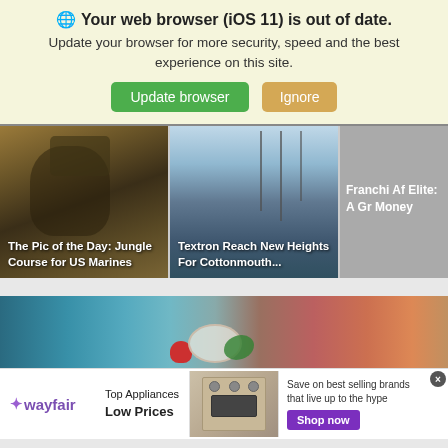Your web browser (iOS 11) is out of date.
Update your browser for more security, speed and the best experience on this site.
[Figure (screenshot): Two buttons: 'Update browser' (green) and 'Ignore' (tan/yellow)]
[Figure (photo): News card 1: A US Marine in jungle gear with helmet. Caption: The Pic of the Day: Jungle Course for US Marines]
[Figure (photo): News card 2: Boats/sailboats on water. Caption: Textron Reach New Heights For Cottonmouth...]
[Figure (photo): News card 3 (partially visible, grey placeholder): Franchi Af Elite: A Gr Money]
[Figure (photo): Wide food/recipe banner with fruits, strawberries, blueberries and plate on blue wooden background]
[Figure (infographic): Wayfair advertisement: Top Appliances Low Prices. Image of a stove/range. Text: Save on best selling brands that live up to the hype. Purple 'Shop now' button.]